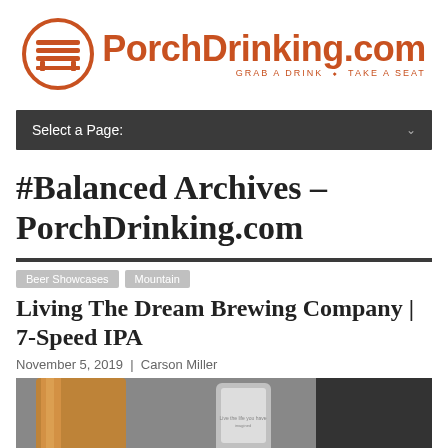[Figure (logo): PorchDrinking.com logo with orange circle containing bench icon, orange bold text 'PorchDrinking.com' and tagline 'GRAB A DRINK · TAKE A SEAT']
Select a Page:
#Balanced Archives – PorchDrinking.com
Beer Showcases
Mountain
Living The Dream Brewing Company | 7-Speed IPA
November 5, 2019 | Carson Miller
[Figure (photo): Photo of a pint glass of amber beer next to a can of beer, partially visible at bottom of page]